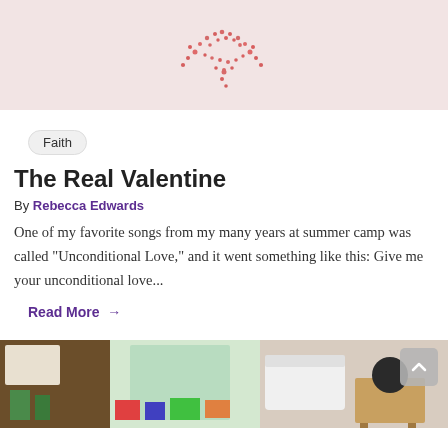[Figure (photo): Pink background with red glitter heart at top of image, partially cropped]
Faith
The Real Valentine
By Rebecca Edwards
One of my favorite songs from my many years at summer camp was called "Unconditional Love," and it went something like this: Give me your unconditional love...
Read More →
[Figure (photo): Classroom interior with desks, colorful items, window with natural light, and a back-to-school setting]